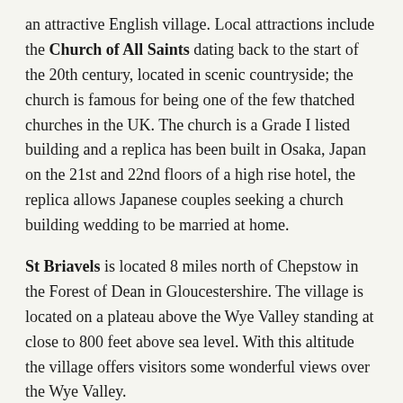an attractive English village. Local attractions include the Church of All Saints dating back to the start of the 20th century, located in scenic countryside; the church is famous for being one of the few thatched churches in the UK. The church is a Grade I listed building and a replica has been built in Osaka, Japan on the 21st and 22nd floors of a high rise hotel, the replica allows Japanese couples seeking a church building wedding to be married at home.
St Briavels is located 8 miles north of Chepstow in the Forest of Dean in Gloucestershire. The village is located on a plateau above the Wye Valley standing at close to 800 feet above sea level. With this altitude the village offers visitors some wonderful views over the Wye Valley.
The village is well known for the historic St Briavels